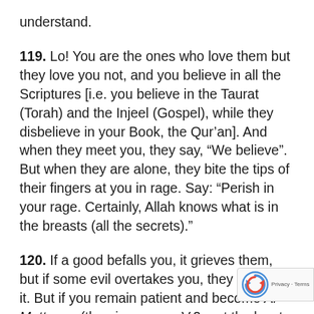understand.
119. Lo! You are the ones who love them but they love you not, and you believe in all the Scriptures [i.e. you believe in the Taurat (Torah) and the Injeel (Gospel), while they disbelieve in your Book, the Qur'an]. And when they meet you, they say, “We believe”. But when they are alone, they bite the tips of their fingers at you in rage. Say: “Perish in your rage. Certainly, Allah knows what is in the breasts (all the secrets).”
120. If a good befalls you, it grieves them, but if some evil overtakes you, they rejoice at it. But if you remain patient and become Al-Muttaqun (the pious – see V.2) not the least harm will their cunning do to